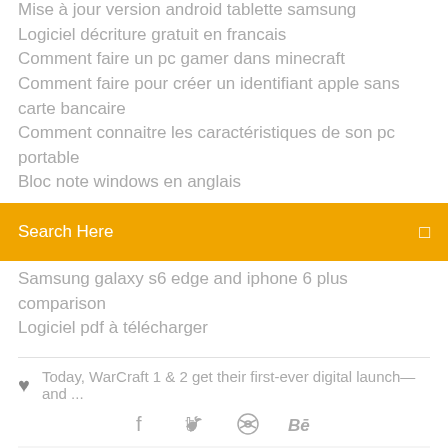Mise à jour version android tablette samsung
Logiciel décriture gratuit en francais
Comment faire un pc gamer dans minecraft
Comment faire pour créer un identifiant apple sans carte bancaire
Comment connaitre les caractéristiques de son pc portable
Bloc note windows en anglais
[Figure (screenshot): Orange search bar with text 'Search Here' and a search icon on the right]
Samsung galaxy s6 edge and iphone 6 plus comparison
Logiciel pdf à télécharger
Today, WarCraft 1 & 2 get their first-ever digital launch—and ...
[Figure (infographic): Social media icons: facebook, twitter, dribbble, behance]
Post any diecast on this site